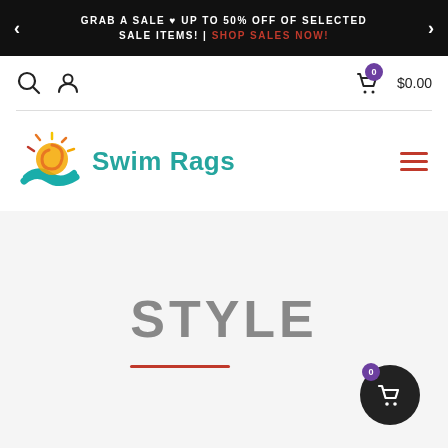GRAB A SALE ♥ UP TO 50% OFF OF SELECTED SALE ITEMS! | SHOP SALES NOW!
[Figure (screenshot): Utility navigation bar with search icon, user account icon, and shopping cart showing $0.00 with purple badge showing 0]
[Figure (logo): Swim Rags logo with sun and wave spiral icon in teal, yellow, and orange, with teal text 'Swim Rags' and hamburger menu icon in red on the right]
STYLE
[Figure (other): Floating black circular cart button with purple badge showing 0 in bottom right corner]